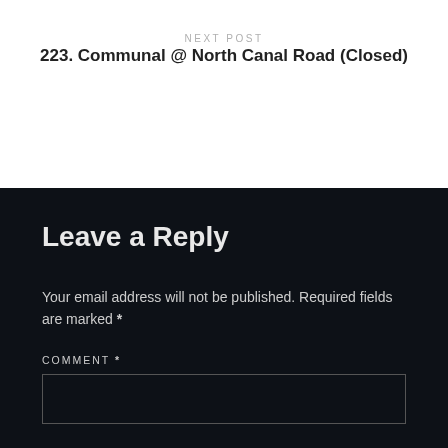NEXT POST
223. Communal @ North Canal Road (Closed)
Leave a Reply
Your email address will not be published. Required fields are marked *
COMMENT *